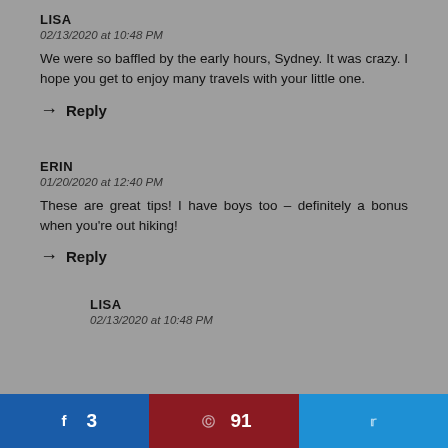LISA
02/13/2020 at 10:48 PM
We were so baffled by the early hours, Sydney. It was crazy. I hope you get to enjoy many travels with your little one.
→ Reply
ERIN
01/20/2020 at 12:40 PM
These are great tips! I have boys too – definitely a bonus when you're out hiking!
→ Reply
LISA
02/13/2020 at 10:48 PM
Facebook share: 3, Pinterest share: 91, Twitter share